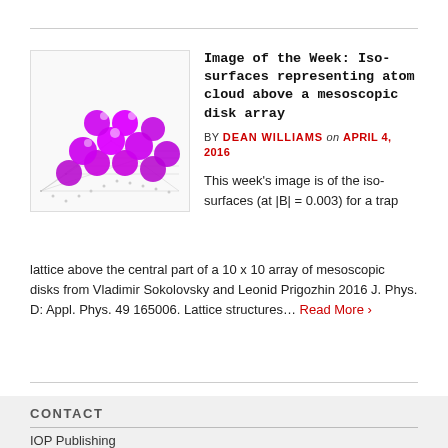[Figure (photo): Iso-surfaces visualization showing magenta/purple spherical shapes arranged in a lattice grid pattern above a mesoscopic disk array, rendered in 3D on a white background with grid lines.]
Image of the Week: Iso-surfaces representing atom cloud above a mesoscopic disk array
BY DEAN WILLIAMS on APRIL 4, 2016
This week's image is of the iso-surfaces (at |B| = 0.003) for a trap lattice above the central part of a 10 x 10 array of mesoscopic disks from Vladimir Sokolovsky and Leonid Prigozhin 2016 J. Phys. D: Appl. Phys. 49 165006. Lattice structures… Read More ›
CONTACT
IOP Publishing